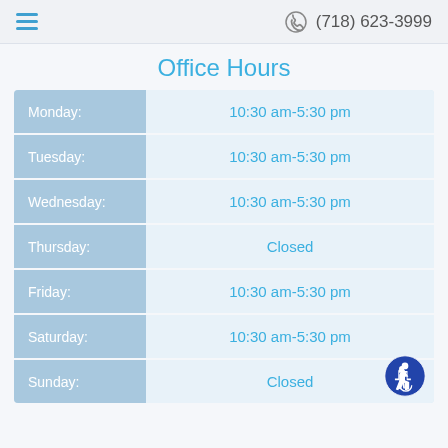≡  (718) 623-3999
Office Hours
| Day | Hours |
| --- | --- |
| Monday: | 10:30 am-5:30 pm |
| Tuesday: | 10:30 am-5:30 pm |
| Wednesday: | 10:30 am-5:30 pm |
| Thursday: | Closed |
| Friday: | 10:30 am-5:30 pm |
| Saturday: | 10:30 am-5:30 pm |
| Sunday: | Closed |